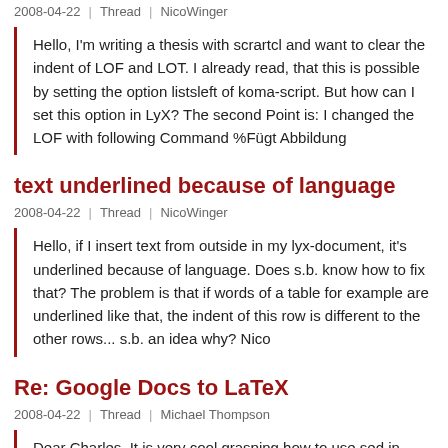2008-04-22 | Thread | NicoWinger
Hello, I'm writing a thesis with scrartcl and want to clear the indent of LOF and LOT. I already read, that this is possible by setting the option listsleft of koma-script. But how can I set this option in LyX? The second Point is: I changed the LOF with following Command %Fügt Abbildung
text underlined because of language
2008-04-22 | Thread | NicoWinger
Hello, if I insert text from outside in my lyx-document, it's underlined because of language. Does s.b. know how to fix that? The problem is that if words of a table for example are underlined like that, the indent of this row is different to the other rows... s.b. an idea why? Nico
Re: Google Docs to LaTeX
2008-04-22 | Thread | Michael Thompson
Dear Charles, It is very cool grasping how to use sed in however a primitive way. But on further investigation it seems one needs it for a LyX friendly use of ``writer2latex" only if the document has tables, math, images ... or French. With a fairly wide but unscientifically chosen variety of